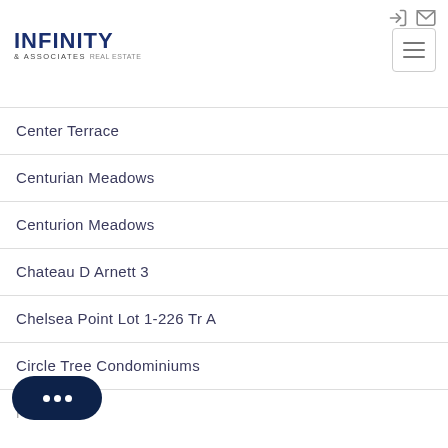INFINITY & ASSOCIATES REAL ESTATE
Center Terrace
Centurian Meadows
Centurion Meadows
Chateau D Arnett 3
Chelsea Point Lot 1-226 Tr A
Circle Tree Condominiums